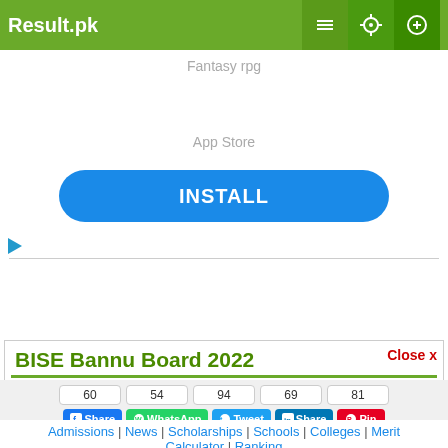Result.pk
[Figure (screenshot): App advertisement banner with 'Fantasy rpg' text, 'App Store' text, and a blue INSTALL button with a play icon below]
BISE Bannu Board 2022
[Figure (infographic): Social share buttons row: share counts 60, 54, 94, 69, 81 and buttons: Facebook Share, WhatsApp, Twitter Tweet, LinkedIn Share, Pinterest Pin. Second row: 2 / Recommend button, Subscribe YouTube button.]
Admissions | News | Scholarships | Schools | Colleges | Merit Calculator | Ranking